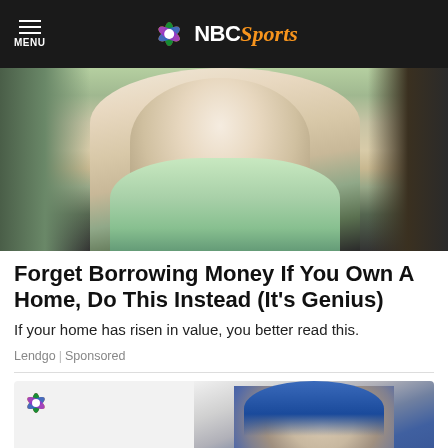NBC Sports
[Figure (photo): Photo of a young blonde woman in a mint green top, outdoors]
Forget Borrowing Money If You Own A Home, Do This Instead (It's Genius)
If your home has risen in value, you better read this.
Lendgo | Sponsored
[Figure (photo): NBC logo peacock icon with a man wearing a blue Kelley Blue Book cap and sunglasses]